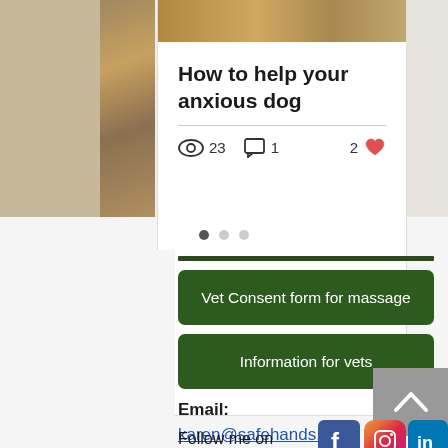[Figure (screenshot): Blog post card showing a dog photo at top with title 'How to help your anxious dog', a divider line, and stats: 23 views, 1 comment, 2 likes (heart icon)]
[Figure (infographic): Three pagination dots: first dot filled/dark, second and third grey]
Vet Consent form for massage
Information for vets
Email: karen@safehands.dog or call 07751 362 220
Follow me on
[Figure (logo): Facebook logo icon (blue square with white f)]
[Figure (logo): Instagram logo icon (gradient square with camera outline)]
[Figure (logo): LinkedIn logo icon (blue square with white 'in')]